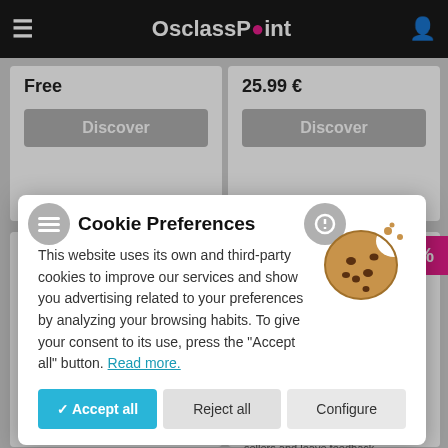OsclassPoint
Free
25.99 €
Discover
Discover
[Figure (screenshot): Product listing page for OsclassPoint marketplace showing plugin cards with prices and a cookie consent modal overlay]
-25%
Cookie Preferences
This website uses its own and third-party cookies to improve our services and show you advertising related to your preferences by analyzing your browsing habits. To give your consent to its use, press the "Accept all" button. Read more.
✓ Accept all
Reject all
Configure
Virtual Products Plugin
User Rating Plugin
35.99 €
23.99 €
31.99 €